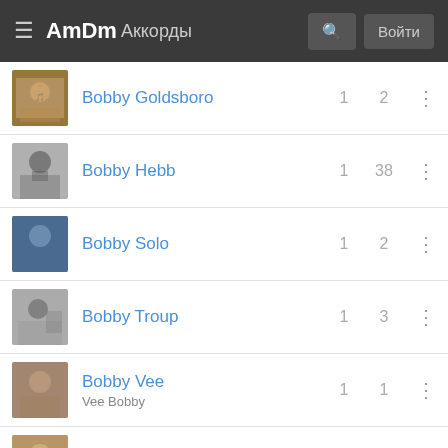AmDm Аккорды
Bobby Goldsboro — 1, 2
Bobby Hebb — 1, 38
Bobby Solo — 1, 2
Bobby Troup — 1, 3
Bobby Vee / Vee Bobby — 1, 1
Bobby Vinton — 3, 34
Bobři — 8, 27